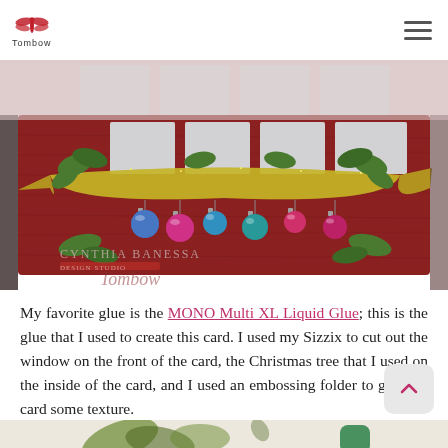Tombow logo and navigation
[Figure (photo): Close-up photo of a handmade Christmas card with a red embossed background, glittery gold banner/ribbon decoration with holly leaves, and colorful Christmas ornament bulbs hanging below (blue, pink, teal, green, pink). Text on card reads 'CYNTHIA BANESSA' and 'Tombow'.]
My favorite glue is the MONO Multi XL Liquid Glue; this is the glue that I used to create this card. I used my Sizzix to cut out the window on the front of the card, the Christmas tree that I used on the inside of the card, and I used an embossing folder to give the card some texture.
[Figure (photo): Bottom strip of a second photo showing green leaf cutouts and what appears to be a green Tombow glue bottle on a light beige background.]